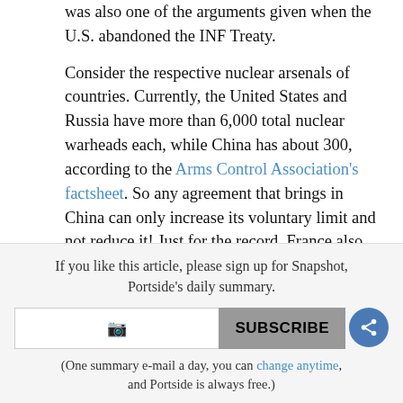was also one of the arguments given when the U.S. abandoned the INF Treaty.
Consider the respective nuclear arsenals of countries. Currently, the United States and Russia have more than 6,000 total nuclear warheads each, while China has about 300, according to the Arms Control Association's factsheet. So any agreement that brings in China can only increase its voluntary limit and not reduce it! Just for the record, France also has 300, with the UK at 200, and India and Pakistan around 150 each. Israel has about 100, and the Democratic People's Republic of Korea (North Korea) has about 30.
If you like this article, please sign up for Snapshot, Portside's daily summary.
(One summary e-mail a day, you can change anytime, and Portside is always free.)